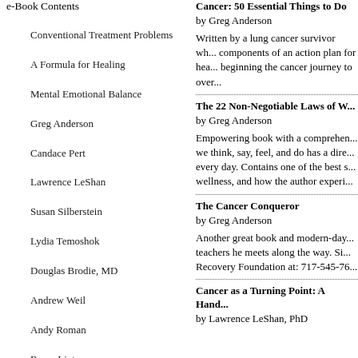e-Book Contents
Conventional Treatment Problems
A Formula for Healing
Mental Emotional Balance
Greg Anderson
Candace Pert
Lawrence LeShan
Susan Silberstein
Lydia Temoshok
Douglas Brodie, MD
Andrew Weil
Andy Roman
Bruce Lipton
Joan Amtoft-Nielsen
Cancer: 50 Essential Things to Do by Greg Anderson
Written by a lung cancer survivor wh... components of an action plan for hea... beginning the cancer journey to over...
The 22 Non-Negotiable Laws of W... by Greg Anderson
Empowering book with a comprehen... we think, say, feel, and do has a dire... every day. Contains one of the best s... wellness, and how the author experi...
The Cancer Conqueror by Greg Anderson
Another great book and modern-day... teachers he meets along the way. Si... Recovery Foundation at: 717-545-76...
Cancer as a Turning Point: A Hand... by Lawrence LeShan, PhD